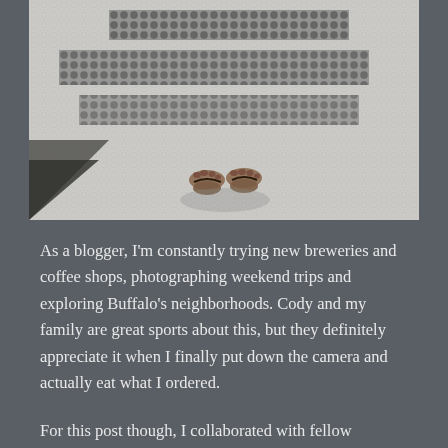[Figure (photo): Overhead photo of person's feet in sandals standing on a mosaic tile floor with small round white and dark grey tiles forming a pattern with letters/text visible on the floor.]
As a blogger, I'm constantly trying new breweries and coffee shops, photographing weekend trips and exploring Buffalo's neighborhoods. Cody and my family are great sports about this, but they definitely appreciate it when I finally put down the camera and actually eat what I ordered.
For this post though, I collaborated with fellow